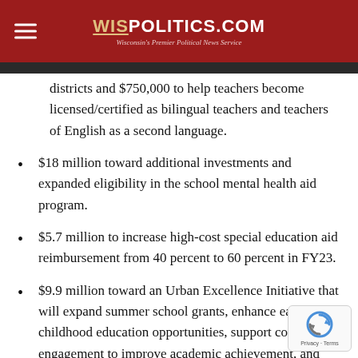WIS POLITICS.COM — Wisconsin's Premier Political News Service
districts and $750,000 to help teachers become licensed/certified as bilingual teachers and teachers of English as a second language.
$18 million toward additional investments and expanded eligibility in the school mental health aid program.
$5.7 million to increase high-cost special education aid reimbursement from 40 percent to 60 percent in FY23.
$9.9 million toward an Urban Excellence Initiative that will expand summer school grants, enhance early childhood education opportunities, support community engagement to improve academic achievement, and support principals in the state's five largest school districts.